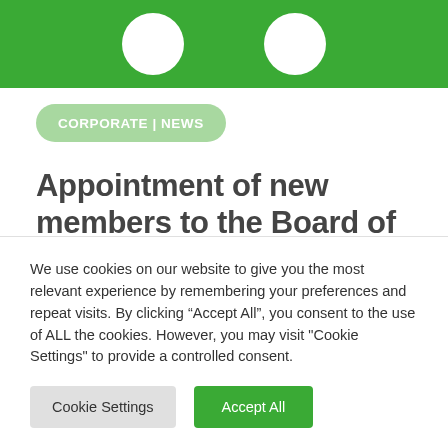[Figure (illustration): Green banner with two white circle icons representing people/avatars]
CORPORATE | NEWS
Appointment of new members to the Board of the National Academy for Educational Leadership announced
We use cookies on our website to give you the most relevant experience by remembering your preferences and repeat visits. By clicking “Accept All”, you consent to the use of ALL the cookies. However, you may visit "Cookie Settings" to provide a controlled consent.